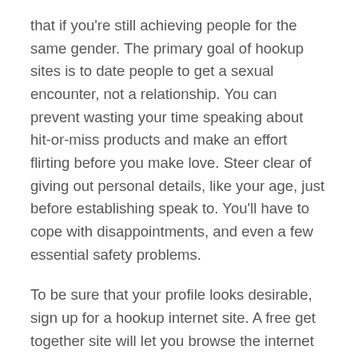that if you're still achieving people for the same gender. The primary goal of hookup sites is to date people to get a sexual encounter, not a relationship. You can prevent wasting your time speaking about hit-or-miss products and make an effort flirting before you make love. Steer clear of giving out personal details, like your age, just before establishing speak to. You'll have to cope with disappointments, and even a few essential safety problems.
To be sure that your profile looks desirable, sign up for a hookup internet site. A free get together site will let you browse the internet site and check out all of it is features. You may also choose a paid option with enhanced conversation features. A premium hookup site will allow you to contact even more members when compared to a free a person. You'll also have the ability to look for the data source and viewpoint profiles of other users. The majority